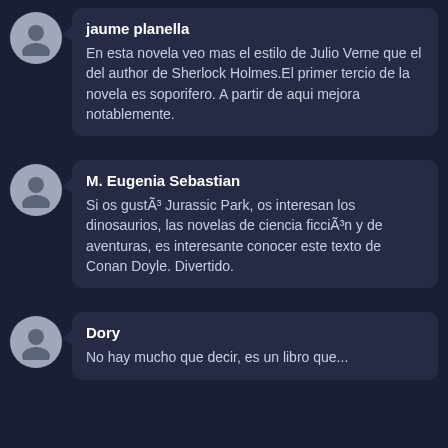jaume planella
En esta novela veo mas el estilo de Julio Verne que el del author de Sherlock Holmes.El primer tercio de la novela es soporifero. A partir de aqui mejora notablemente.
M. Eugenia Sebastian
Si os gustÃ³ Jurassic Park, os interesan los dinosaurios, las novelas de ciencia ficciÃ³n y de aventuras, es interesante conocer este texto de Conan Doyle. Divertido.
Dory
No hay mucho que decir, es un libro que...